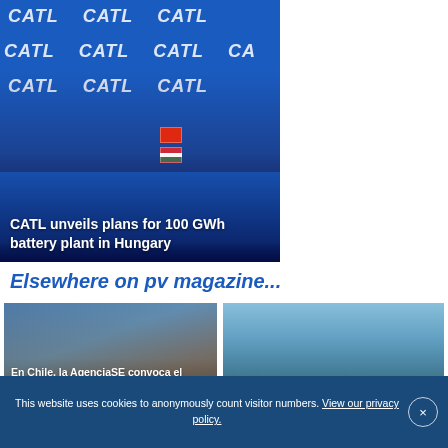[Figure (photo): CATL press conference with people seated in front of a blue CATL branded backdrop with Chinese and Hungarian flags, showing executives at a table]
CATL unveils plans for 100 GWh battery plant in Hungary
Elsewhere on pv magazine...
[Figure (photo): News thumbnail image showing people in Chile with warm earth tones and sky]
En Chile, la AgenciaSE convoca el Tercer Concurso Comunidad Energética para
[Figure (photo): News thumbnail image showing a large flat solar field under a blue sky]
Sun Cable announces financial advisors for the globe's largest solar
This website uses cookies to anonymously count visitor numbers. View our privacy policy.